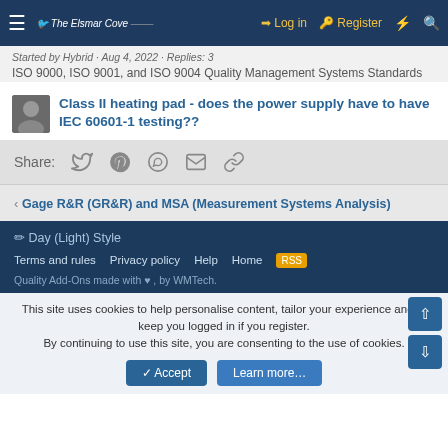Log in  Register
Started by Hybrid · Aug 4, 2022 · Replies: 3
ISO 9000, ISO 9001, and ISO 9004 Quality Management Systems Standards
Class II heating pad - does the power supply have to have IEC 60601-1 testing??
Share:
Gage R&R (GR&R) and MSA (Measurement Systems Analysis)
Day (Light) Style
Terms and rules  Privacy policy  Help  Home
Quality Add-Ons made with , by WMTech.
This site uses cookies to help personalise content, tailor your experience and to keep you logged in if you register. By continuing to use this site, you are consenting to the use of cookies.